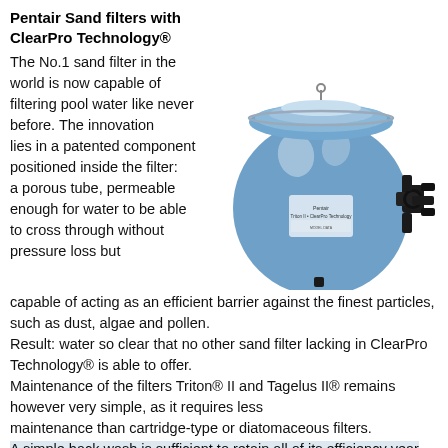Pentair Sand filters with ClearPro Technology®
[Figure (photo): A large blue spherical sand pool filter (Triton II with ClearPro Technology) with a black multi-port valve on the side and a black base stand.]
The No.1 sand filter in the world is now capable of filtering pool water like never before. The innovation lies in a patented component positioned inside the filter: a porous tube, permeable enough for water to be able to cross through without pressure loss but capable of acting as an efficient barrier against the finest particles, such as dust, algae and pollen.
Result: water so clear that no other sand filter lacking in ClearPro Technology® is able to offer.
Maintenance of the filters Triton® II and Tagelus II® remains however very simple, as it requires less maintenance than cartridge-type or diatomaceous filters.
A simple back wash is sufficient to retain all of its efficiency year after year.